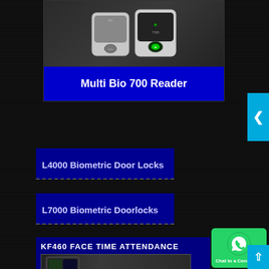[Figure (photo): Biometric fingerprint reader device - Multi Bio 700 Reader product photo on dark background]
Multi Bio 700 Reader
L4000 Biometric Door Locks
L7000 Biometric Doorlocks
LH4000 biometric doorlocks
KF460 FACE TIME ATTENDANCE
[Figure (photo): KF460 face time attendance device product photo]
[Figure (logo): WhatsApp green button with phone icon and Chat to a Consultant text]